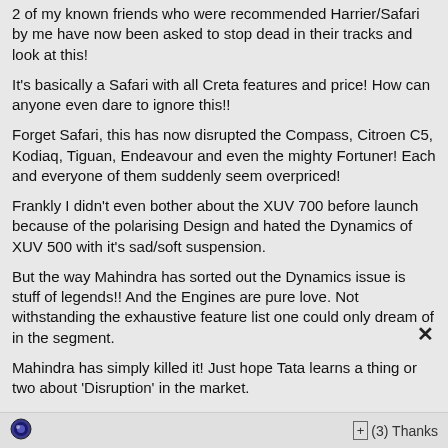2 of my known friends who were recommended Harrier/Safari by me have now been asked to stop dead in their tracks and look at this!
It's basically a Safari with all Creta features and price! How can anyone even dare to ignore this!!
Forget Safari, this has now disrupted the Compass, Citroen C5, Kodiaq, Tiguan, Endeavour and even the mighty Fortuner! Each and everyone of them suddenly seem overpriced!
Frankly I didn't even bother about the XUV 700 before launch because of the polarising Design and hated the Dynamics of XUV 500 with it's sad/soft suspension.
But the way Mahindra has sorted out the Dynamics issue is stuff of legends!! And the Engines are pure love. Not withstanding the exhaustive feature list one could only dream of in the segment.
Mahindra has simply killed it! Just hope Tata learns a thing or two about 'Disruption' in the market.
+(3) Thanks